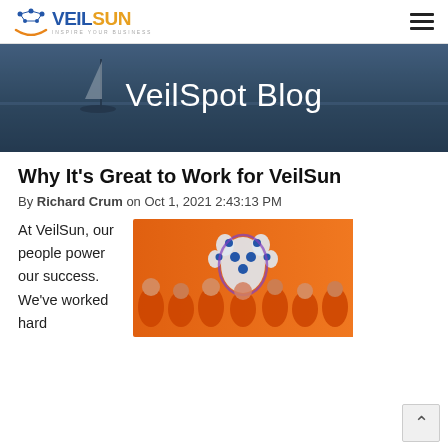VEILSUN — Inspire Your Business (navigation bar with logo and hamburger menu)
[Figure (photo): Hero banner showing a sailboat on calm water with a dark blue-gray overlay and the text 'VeilSpot Blog' centered in white]
Why It's Great to Work for VeilSun
By Richard Crum on Oct 1, 2021 2:43:13 PM
At VeilSun, our people power our success. We've worked hard
[Figure (photo): Group photo of VeilSun team members wearing orange shirts, standing in front of an orange wall with a large glowing paw print logo]